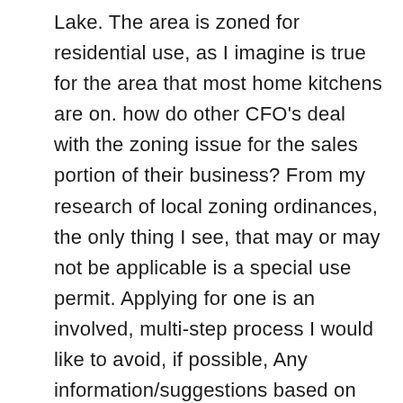Lake. The area is zoned for residential use, as I imagine is true for the area that most home kitchens are on. how do other CFO's deal with the zoning issue for the sales portion of their business? From my research of local zoning ordinances, the only thing I see, that may or may not be applicable is a special use permit. Applying for one is an involved, multi-step process I would like to avoid, if possible, Any information/suggestions based on your experience would be helpful. thanks!